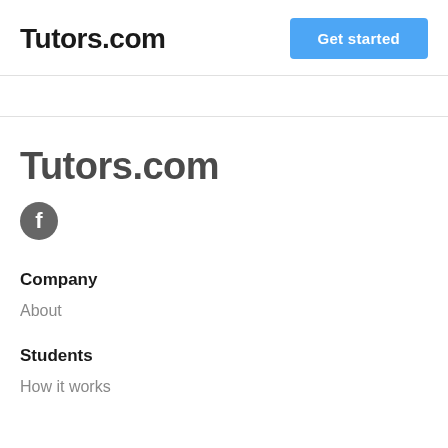Tutors.com
Get started
Tutors.com
[Figure (logo): Facebook icon — circular grey button with white 'f' letter]
Company
About
Students
How it works